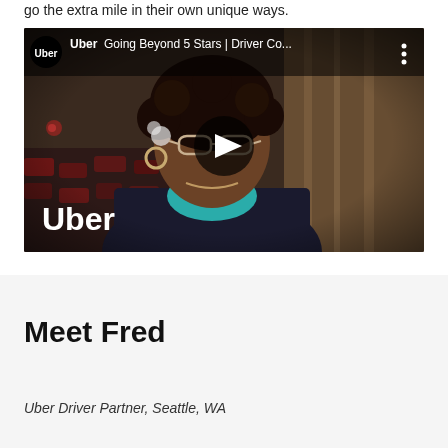go the extra mile in their own unique ways.
[Figure (screenshot): YouTube video thumbnail for Uber video titled 'Going Beyond 5 Stars | Driver Co...' showing a woman wearing glasses and a blue shirt with a dark jacket, seated in what appears to be a theater. The Uber logo appears in the top left and bottom left. A play button is centered on the image.]
Meet Fred
Uber Driver Partner, Seattle, WA